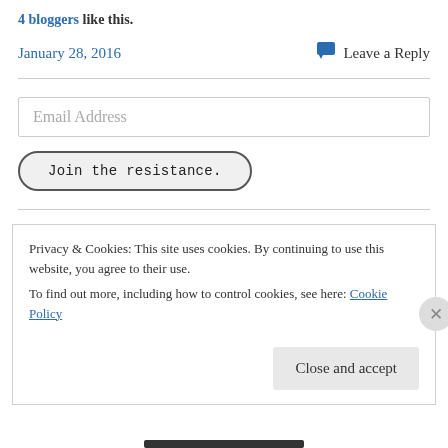4 bloggers like this.
January 28, 2016    Leave a Reply
Email Address
Join the resistance.
Privacy & Cookies: This site uses cookies. By continuing to use this website, you agree to their use.
To find out more, including how to control cookies, see here: Cookie Policy
Close and accept